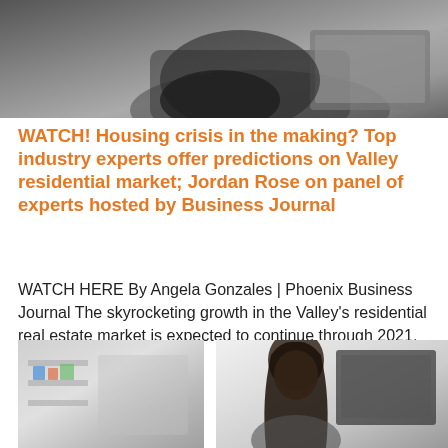[Figure (photo): Top photo showing a person in dark clothing sitting and using a laptop computer, cropped to show mainly the lower body and laptop]
WATCH! Housing crisis in the making? Top industry experts offer predictions on Valley residential market; Jordan Rose on panel of experts hosted by Business Journal
WATCH HERE By Angela Gonzales | Phoenix Business Journal The skyrocketing growth in the Valley's residential real estate market is expected to continue through 2021,
Read More »
[Figure (photo): Bottom left photo showing a blurred office or retail environment with shelving]
[Figure (photo): Bottom right photo showing a woman with dark hair working at a computer monitor]